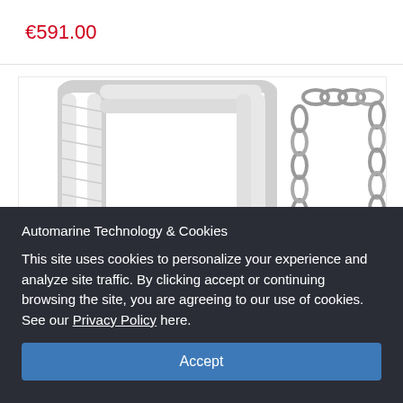€591.00
[Figure (photo): Product image showing a white rope and a metal chain side by side, both formed into elongated loop shapes against a white background.]
Automarine Technology & Cookies
This site uses cookies to personalize your experience and analyze site traffic. By clicking accept or continuing browsing the site, you are agreeing to our use of cookies. See our Privacy Policy here.
Accept